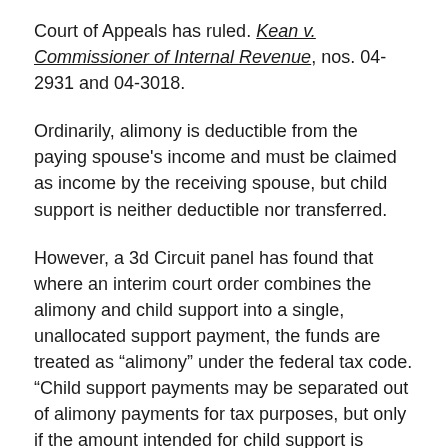Court of Appeals has ruled. Kean v. Commissioner of Internal Revenue, nos. 04-2931 and 04-3018.
Ordinarily, alimony is deductible from the paying spouse's income and must be claimed as income by the receiving spouse, but child support is neither deductible nor transferred.
However, a 3d Circuit panel has found that where an interim court order combines the alimony and child support into a single, unallocated support payment, the funds are treated as “alimony” under the federal tax code. “Child support payments may be separated out of alimony payments for tax purposes, but only if the amount intended for child support is sufficiently identifiable,” U.S. Circuit Judge Franklin S. Van Antwerpen wrote on behalf of the panel. “Where support payments are unallocated . . . the entire amount is attributable to the payee spouse’s income.”